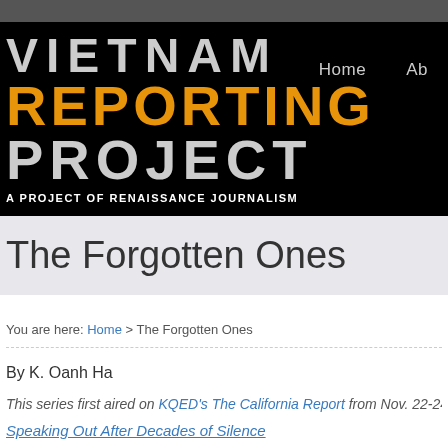[Figure (screenshot): Vietnam Reporting Project website header with black background showing logo text 'Vietnam Reporting Project' with 'Reporting' in orange, tagline 'A Project of Renaissance Journalism', and navigation links Home and About]
The Forgotten Ones
You are here: Home > The Forgotten Ones
By K. Oanh Ha
This series first aired on KQED's The California Report from Nov. 22-24,
Speaking Out After Decades of Silence